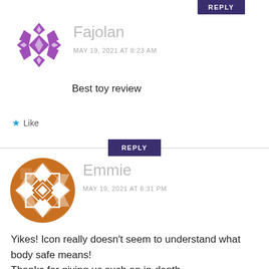REPLY
[Figure (illustration): Purple geometric snowflake-like avatar icon for user Fajolan]
Fajolan
MAY 19, 2021 AT 8:23 AM
Best toy review
★ Like
REPLY
[Figure (illustration): Orange/brown geometric diamond-pattern circular avatar icon for user Emmie]
Emmie
MAY 19, 2021 AT 6:31 PM
Yikes! Icon really doesn't seem to understand what body safe means! Thanks for giving us such an in-depth